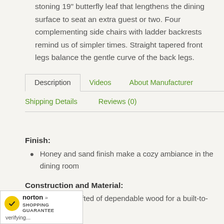stoning 19" butterfly leaf that lengthens the dining surface to seat an extra guest or two. Four complementing side chairs with ladder backrests remind us of simpler times. Straight tapered front legs balance the gentle curve of the back legs.
Description  Videos  About Manufacturer  Shipping Details  Reviews (0)
Finish:
Honey and sand finish make a cozy ambiance in the dining room
Construction and Material:
Frame is crafted of dependable wood for a built-to-last quality
[Figure (logo): Norton Shopping Guarantee badge with yellow checkmark, 'norton' text, and 'SHOPPING GUARANTEE' label, with 'verifying...' text below]